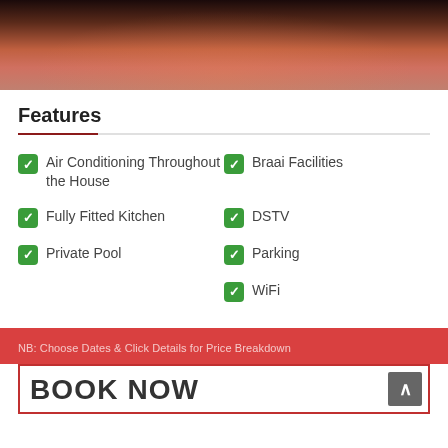[Figure (photo): Sunset/dusk photo showing silhouettes near water with warm orange-red sky]
Features
Air Conditioning Throughout the House
Braai Facilities
Fully Fitted Kitchen
DSTV
Private Pool
Parking
WiFi
NB: Choose Dates & Click Details for Price Breakdown
BOOK NOW